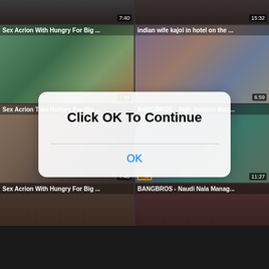[Figure (screenshot): Video thumbnail grid of adult content website with iOS-style alert dialog overlay saying 'Click OK To Continue' with OK button]
Click OK To Continue
OK